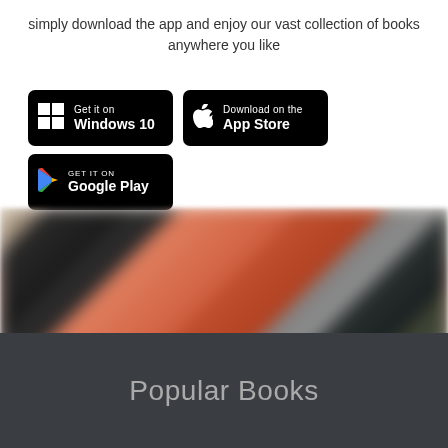simply download the app and enjoy our vast collection of books anywhere you like
[Figure (logo): Get it on Windows 10 badge (black rounded rectangle with Windows logo)]
[Figure (logo): Download on the App Store badge (black rounded rectangle with Apple logo)]
[Figure (logo): GET IT ON Google Play badge (black rounded rectangle with Google Play triangle logo)]
[Figure (photo): Blurred book covers displayed in a row]
Popular Books